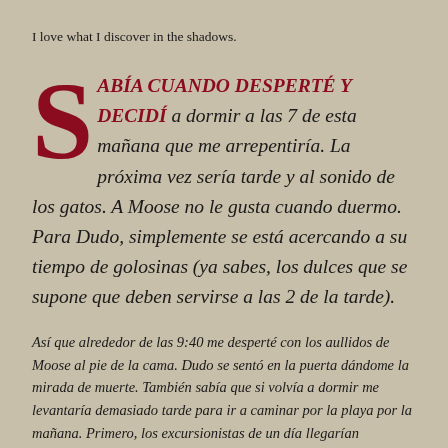I love what I discover in the shadows.
SABÍA CUANDO DESPERTÉ Y DECIDÍ a dormir a las 7 de esta mañana que me arrepentiría. La próxima vez sería tarde y al sonido de los gatos. A Moose no le gusta cuando duermo. Para Dudo, simplemente se está acercando a su tiempo de golosinas (ya sabes, los dulces que se supone que deben servirse a las 2 de la tarde).
Así que alrededor de las 9:40 me desperté con los aullidos de Moose al pie de la cama. Dudo se sentó en la puerta dándome la mirada de muerte. También sabía que si volvía a dormir me levantaría demasiado tarde para ir a caminar por la playa por la mañana. Primero, los excursionistas de un día llegarían